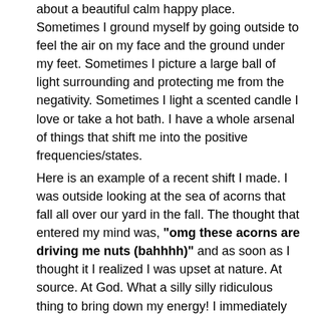about a beautiful calm happy place. Sometimes I ground myself by going outside to feel the air on my face and the ground under my feet. Sometimes I picture a large ball of light surrounding and protecting me from the negativity. Sometimes I light a scented candle I love or take a hot bath. I have a whole arsenal of things that shift me into the positive frequencies/states.
Here is an example of a recent shift I made. I was outside looking at the sea of acorns that fall all over our yard in the fall. The thought that entered my mind was, "omg these acorns are driving me nuts (bahhhh)" and as soon as I thought it I realized I was upset at nature. At source. At God. What a silly silly ridiculous thing to bring down my energy! I immediately replaced that thinking with, "Look at all the potential life that is everywhere in our yard! How glorious!!! These acorns are mother natures glitter and glory" and now I will never look at an acorn quite the same.
If you find yourself lost, frustrated, down, it has nowhere to...